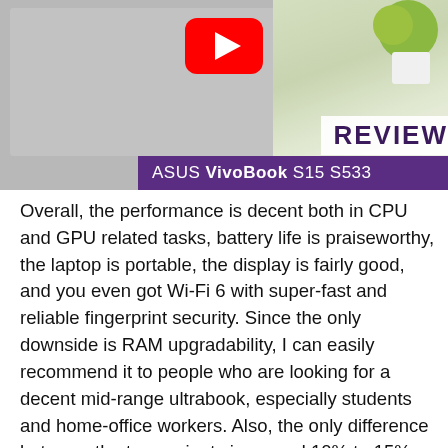[Figure (photo): YouTube thumbnail showing an ASUS VivoBook S15 S533 laptop with a YouTube play button icon overlay, plants in background, and a purple 'ASUS VivoBook S15 S533' label bar. Text overlay reads 'REVIEW'.]
Overall, the performance is decent both in CPU and GPU related tasks, battery life is praiseworthy, the laptop is portable, the display is fairly good, and you even got Wi-Fi 6 with super-fast and reliable fingerprint security. Since the only downside is RAM upgradability, I can easily recommend it to people who are looking for a decent mid-range ultrabook, especially students and home-office workers. Also, the only difference between the two variants is around 10% to 15% performance improvement in the i7.